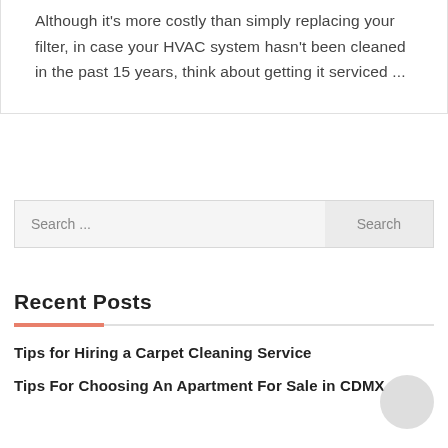Although it's more costly than simply replacing your filter, in case your HVAC system hasn't been cleaned in the past 15 years, think about getting it serviced ...
Search ...
Recent Posts
Tips for Hiring a Carpet Cleaning Service
Tips For Choosing An Apartment For Sale in CDMX